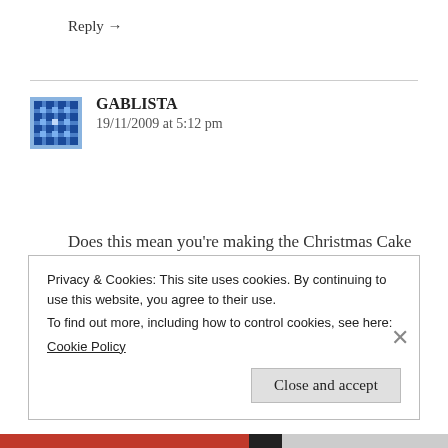Reply →
GABLISTA
19/11/2009 at 5:12 pm
Does this mean you're making the Christmas Cake this year Lans????
Reply →
Privacy & Cookies: This site uses cookies. By continuing to use this website, you agree to their use.
To find out more, including how to control cookies, see here:
Cookie Policy